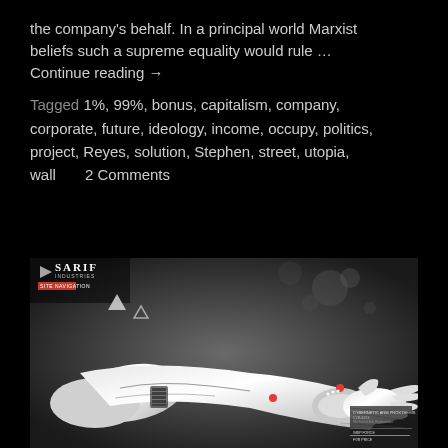the company's behalf. In a principal world Marxist beliefs such a supreme equality would rule … Continue reading →
Tagged 1%, 99%, bonus, capitalism, company, corporate, future, ideology, income, occupy, politics, project, Reyes, solution, Stephen, street, utopia, wall     2 Comments
[Figure (photo): Sarif Industries branded image showing a realistic robotic/cybernetic arm extended outward, with a dark atmospheric background, a white triangle logo, a red navigation badge, and technical specification text in the lower right corner.]